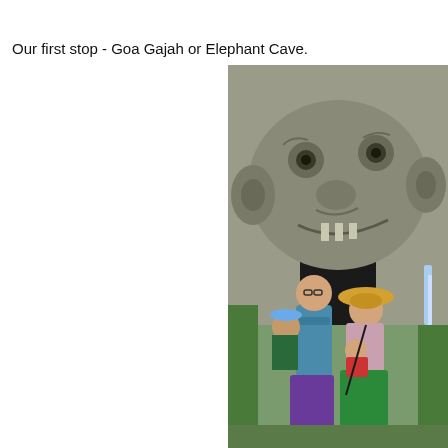Our first stop - Goa Gajah or Elephant Cave.
[Figure (photo): Family photo of two adults and two children posing in front of the entrance of Goa Gajah (Elephant Cave) in Bali, Indonesia. The cave entrance is carved with a large demonic face in stone. The adults are wearing colorful clothing including purple and green sarongs.]